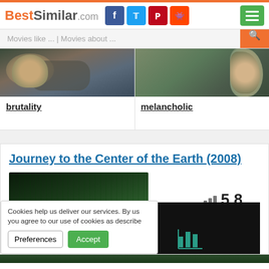BestSimilar.com
Movies like ... | Movies about ...
[Figure (photo): Photo of a person in military/combat scene (brutality)]
brutality
[Figure (photo): Photo of a young woman looking away (melancholic)]
melancholic
Journey to the Center of the Earth (2008)
[Figure (screenshot): Movie thumbnail with dark green forest scene and rating overlay showing 5.8, with a dark ad panel showing a chart icon]
Cookies help us deliver our services. By us you agree to our use of cookies as describe
Preferences
Accept